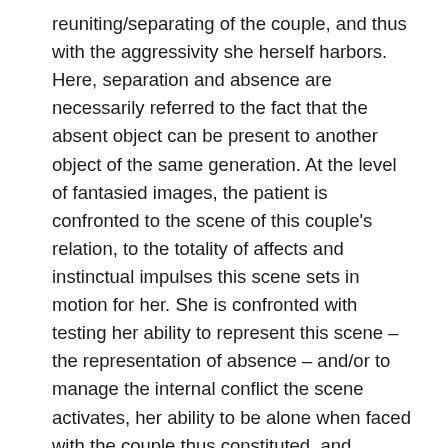reuniting/separating of the couple, and thus with the aggressivity she herself harbors. Here, separation and absence are necessarily referred to the fact that the absent object can be present to another object of the same generation. At the level of fantasied images, the patient is confronted to the scene of this couple's relation, to the totality of affects and instinctual impulses this scene sets in motion for her. She is confronted with testing her ability to represent this scene – the representation of absence – and/or to manage the internal conflict the scene activates, her ability to be alone when faced with the couple thus constituted, and therefore the quality and types of auto-eroticism to which she can resort to face this situation, the ability of her auto-erotic mechanisms to tie together the aggressive elements present in the situation. This is the « context » in which I place the content of the session, the context implicit in the way I listen to the material, the context which « condenses » the previous psychoanalytic work. We can also say that this is the implicit context for the analysand